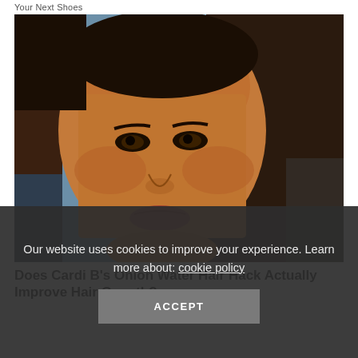Your Next Shoes
[Figure (photo): Close-up selfie of a woman with long dark straight hair, wearing natural makeup, looking directly at the camera. Background appears to be outdoors or in a vehicle.]
Does Cardi B's Onion Water Hair Hack Actually Improve Hair Growth?
Our website uses cookies to improve your experience. Learn more about: cookie policy
ACCEPT